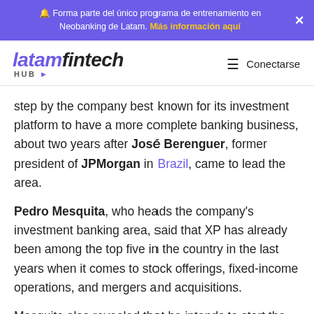🔔 Forma parte del único programa de entrenamiento en Neobanking de Latam. Más información aquí
latamfintech HUB
step by the company best known for its investment platform to have a more complete banking business, about two years after José Berenguer, former president of JPMorgan in Brazil, came to lead the area.
Pedro Mesquita, who heads the company's investment banking area, said that XP has already been among the top five in the country in the last years when it comes to stock offerings, fixed-income operations, and mergers and acquisitions.
Mesquita also revealed that he intends to start the international expansion of XP Banco de Atacado, but gave no further details. "We intend to soon expand